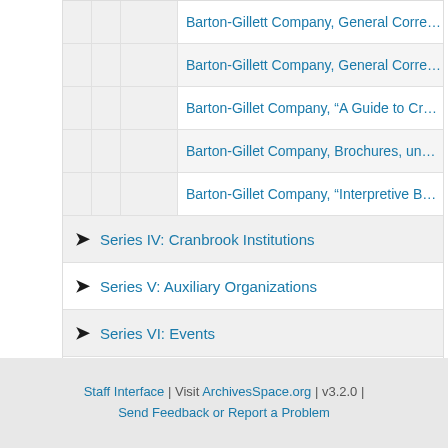Barton-Gillett Company, General Corres...
Barton-Gillett Company, General Corres...
Barton-Gillet Company, "A Guide to Cra...
Barton-Gillet Company, Brochures, unda...
Barton-Gillet Company, "Interpretive Boo...
Series IV: Cranbrook Institutions
Series V: Auxiliary Organizations
Series VI: Events
Series VII: Property
Series VIII: Oversize
Staff Interface | Visit ArchivesSpace.org | v3.2.0 | Send Feedback or Report a Problem